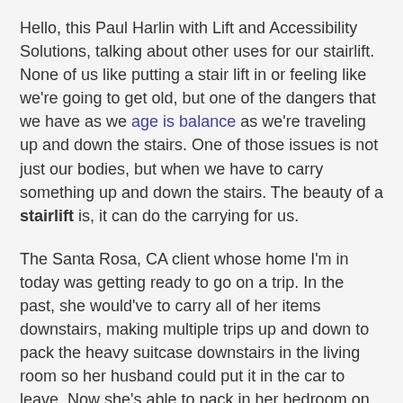Hello, this Paul Harlin with Lift and Accessibility Solutions, talking about other uses for our stairlift. None of us like putting a stair lift in or feeling like we're going to get old, but one of the dangers that we have as we age is balance as we're traveling up and down the stairs. One of those issues is not just our bodies, but when we have to carry something up and down the stairs. The beauty of a stairlift is, it can do the carrying for us.
The Santa Rosa, CA client whose home I'm in today was getting ready to go on a trip. In the past, she would've to carry all of her items downstairs, making multiple trips up and down to pack the heavy suitcase downstairs in the living room so her husband could put it in the car to leave. Now she's able to pack in her bedroom on her comfortable bed, bring the suitcase over to the chair lift, and let the chair lift carry the heavy suitcase and send it off to the car to leave on their trip.
Just one more thing that you're able to do with that stairlift; all of us are carrying stuff up and down; it might just be knick-knacks and our books and may be a laptop; we're all